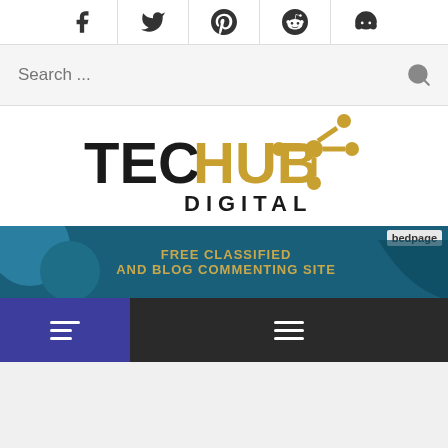[Figure (other): Social media icons bar: Facebook, Twitter, Pinterest, Reddit, Tumblr]
[Figure (other): Search bar with placeholder text 'Search ...' and magnifying glass icon]
[Figure (logo): TEC HUB DIGITAL logo with gold network/hub icon]
[Figure (other): Advertisement banner: FREE CLASSIFIED AND BLOG COMMENTING SITE, bedpage]
[Figure (other): Navigation bar with hamburger menus, left panel purple/dark blue, right panel dark gray]